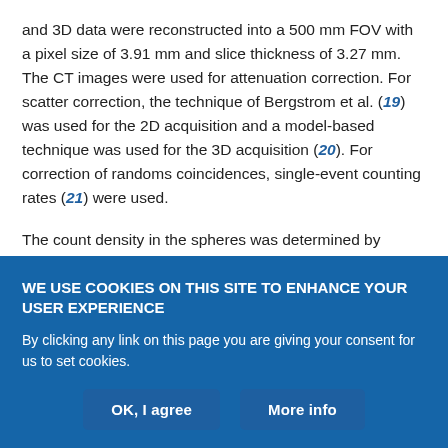and 3D data were reconstructed into a 500 mm FOV with a pixel size of 3.91 mm and slice thickness of 3.27 mm. The CT images were used for attenuation correction. For scatter correction, the technique of Bergstrom et al. (19) was used for the 2D acquisition and a model-based technique was used for the 3D acquisition (20). For correction of randoms coincidences, single-event counting rates (21) were used.
The count density in the spheres was determined by drawing regions of interest (ROIs) of diameter equal to the inner diameter of each sphere on the transaxial image through the center of the spheres.
WE USE COOKIES ON THIS SITE TO ENHANCE YOUR USER EXPERIENCE
By clicking any link on this page you are giving your consent for us to set cookies.